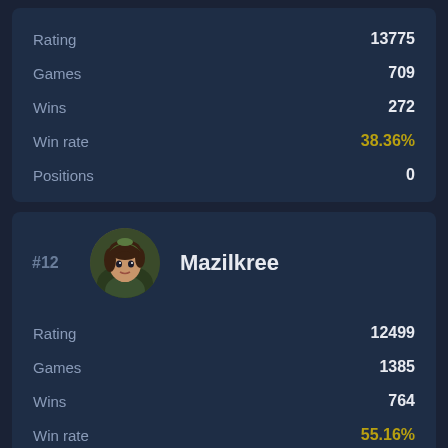| Stat | Value |
| --- | --- |
| Rating | 13775 |
| Games | 709 |
| Wins | 272 |
| Win rate | 38.36% |
| Positions | 0 |
#12  Mazilkree
| Stat | Value |
| --- | --- |
| Rating | 12499 |
| Games | 1385 |
| Wins | 764 |
| Win rate | 55.16% |
| Positions | 0 |